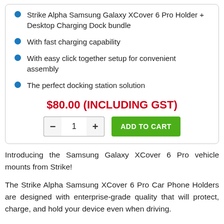Strike Alpha Samsung Galaxy XCover 6 Pro Holder + Desktop Charging Dock bundle
With fast charging capability
With easy click together setup for convenient assembly
The perfect docking station solution
$80.00 (INCLUDING GST)
Introducing the Samsung Galaxy XCover 6 Pro vehicle mounts from Strike!
The Strike Alpha Samsung XCover 6 Pro Car Phone Holders are designed with enterprise-grade quality that will protect, charge, and hold your device even when driving.
Each Alpha Car Cradle is highly durable and can withstand tough working conditions. It is designed and crash-tested to